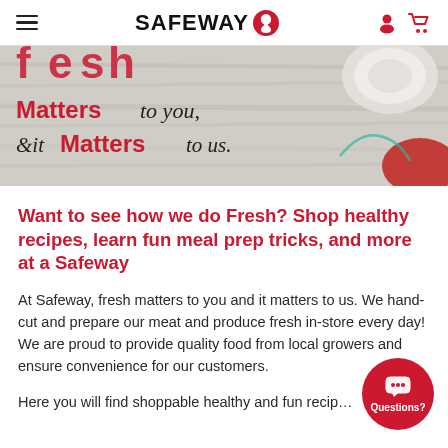SAFEWAY
[Figure (photo): Safeway promotional banner with text 'Matters to you, & it Matters to us.' on a light wood background with food items]
Want to see how we do Fresh? Shop healthy recipes, learn fun meal prep tricks, and more at a Safeway
At Safeway, fresh matters to you and it matters to us. We hand-cut and prepare our meat and produce fresh in-store every day! We are proud to provide quality food from local growers and ensure convenience for our customers.
Here you will find shoppable healthy and fun recipes for home food lovers, dining room, and do-it-from-scratch cooks.